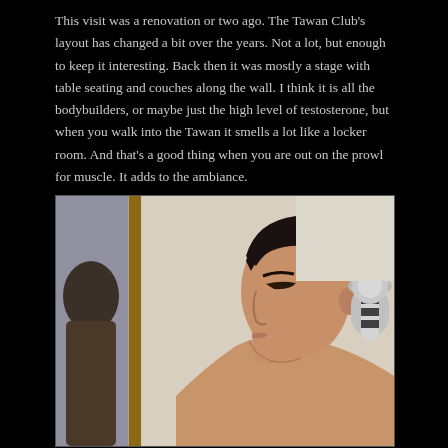This visit was a renovation or two ago. The Tawan Club's layout has changed a bit over the years. Not a lot, but enough to keep it interesting. Back then it was mostly a stage with table seating and couches along the wall. I think it is all the bodybuilders, or maybe just the high level of testosterone, but when you walk into the Tawan it smells a lot like a locker room. And that's a good thing when you are out on the prowl for muscle. It adds to the ambiance.
[Figure (photo): A young shirtless Asian man photographed from the side/three-quarter angle, with short dark hair, looking to the left. A mirror reflection is visible on the left side of the image. A wall-mounted light fixture is visible on the right. The background shows beige/cream walls.]